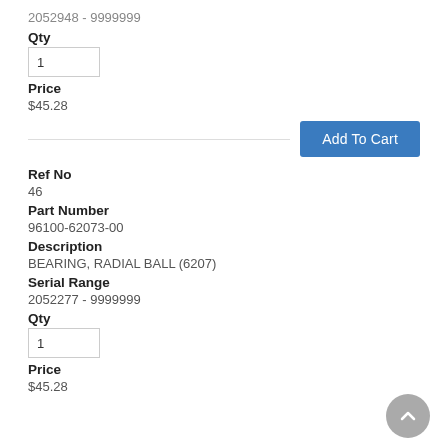2052948 - 9999999
Qty
1
Price
$45.28
Add To Cart
Ref No
46
Part Number
96100-62073-00
Description
BEARING, RADIAL BALL (6207)
Serial Range
2052277 - 9999999
Qty
1
Price
$45.28